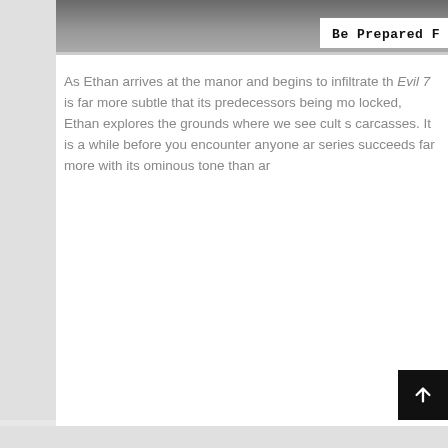[Figure (photo): A dark photo partially visible at the top of the page]
Be Prepared F
As Ethan arrives at the manor and begins to infiltrate th Evil 7 is far more subtle that its predecessors being mo locked, Ethan explores the grounds where we see cult s carcasses. It is a while before you encounter anyone ar series succeeds far more with its ominous tone than ar